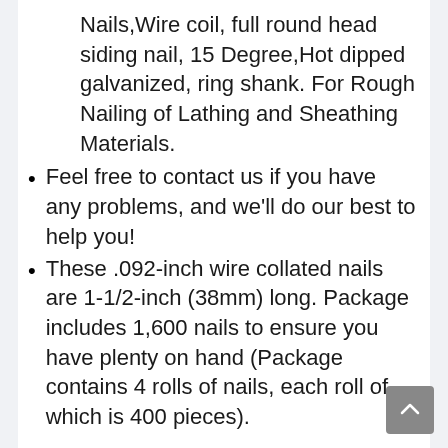Nails,Wire coil, full round head siding nail, 15 Degree,Hot dipped galvanized, ring shank. For Rough Nailing of Lathing and Sheathing Materials.
Feel free to contact us if you have any problems, and we'll do our best to help you!
These .092-inch wire collated nails are 1-1/2-inch (38mm) long. Package includes 1,600 nails to ensure you have plenty on hand (Package contains 4 rolls of nails, each roll of which is 400 pieces).